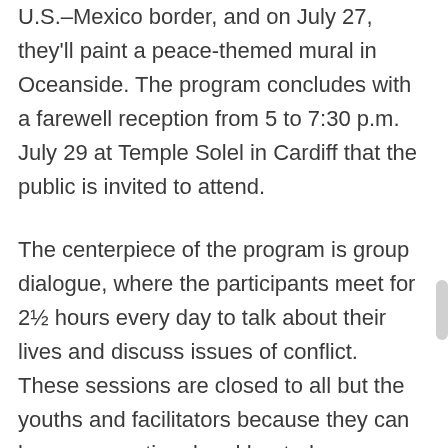U.S.–Mexico border, and on July 27, they'll paint a peace-themed mural in Oceanside. The program concludes with a farewell reception from 5 to 7:30 p.m. July 29 at Temple Solel in Cardiff that the public is invited to attend.
The centerpiece of the program is group dialogue, where the participants meet for 2½ hours every day to talk about their lives and discuss issues of conflict. These sessions are closed to all but the youths and facilitators because they can become emotional and heated.
“It’s courageous for them to do it,” Frankel said. “There are tears, there is laughter, and there is shouting sometimes, but there is always